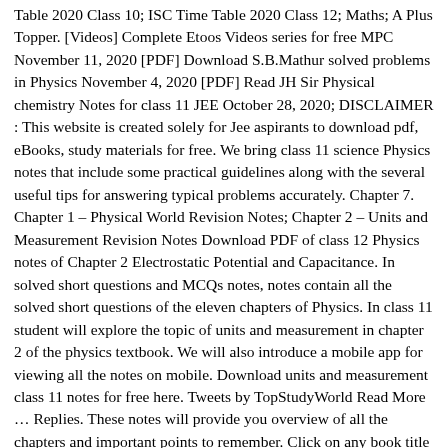Table 2020 Class 10; ISC Time Table 2020 Class 12; Maths; A Plus Topper. [Videos] Complete Etoos Videos series for free MPC November 11, 2020 [PDF] Download S.B.Mathur solved problems in Physics November 4, 2020 [PDF] Read JH Sir Physical chemistry Notes for class 11 JEE October 28, 2020; DISCLAIMER : This website is created solely for Jee aspirants to download pdf, eBooks, study materials for free. We bring class 11 science Physics notes that include some practical guidelines along with the several useful tips for answering typical problems accurately. Chapter 7. Chapter 1 – Physical World Revision Notes; Chapter 2 – Units and Measurement Revision Notes Download PDF of class 12 Physics notes of Chapter 2 Electrostatic Potential and Capacitance. In solved short questions and MCQs notes, notes contain all the solved short questions of the eleven chapters of Physics. In class 11 student will explore the topic of units and measurement in chapter 2 of the physics textbook. We will also introduce a mobile app for viewing all the notes on mobile. Download units and measurement class 11 notes for free here. Tweets by TopStudyWorld Read More … Replies. These notes will provide you overview of all the chapters and important points to remember. Click on any book title and you'll get a synopsis and photo of the book cover as well as the date when the book will stop being free. These notes cover each topic for every chapter. NCERT Solutions for Class 11. These notes offer students with the summary of the chapters, important points to remember, detailed